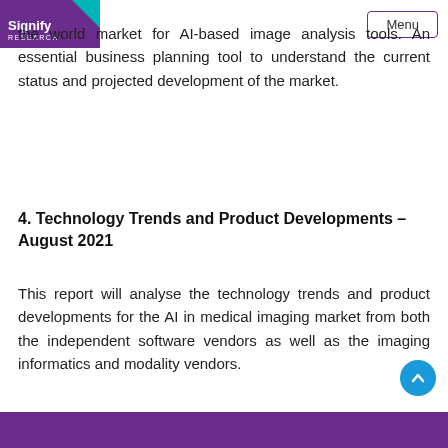Signify Research | Menu
the world market for AI-based image analysis tools. An essential business planning tool to understand the current status and projected development of the market.
4. Technology Trends and Product Developments – August 2021
This report will analyse the technology trends and product developments for the AI in medical imaging market from both the independent software vendors as well as the imaging informatics and modality vendors.